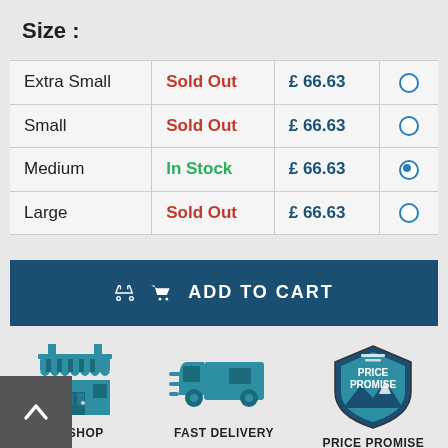Size :
| Size | Status | Price | Select |
| --- | --- | --- | --- |
| Extra Small | Sold Out | £ 66.63 |  |
| Small | Sold Out | £ 66.63 |  |
| Medium | In Stock | £ 66.63 | selected |
| Large | Sold Out | £ 66.63 |  |
ADD TO CART
[Figure (illustration): UK Shop icon — teal storefront illustration]
UK SHOP
[Figure (illustration): Fast Delivery icon — teal delivery truck illustration]
FAST DELIVERY
[Figure (illustration): Price Promise badge — shield with mountains and text 'PRICE PROMISE']
PRICE PROMISE